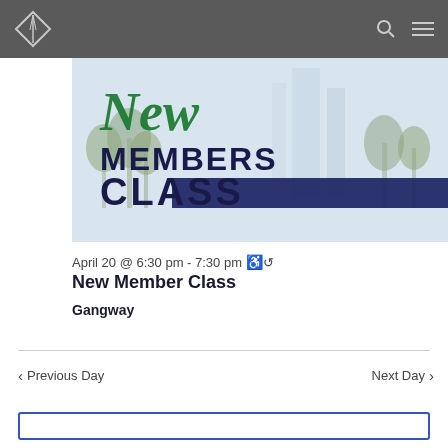Navigation bar with logo, search icon, and menu icon
[Figure (illustration): New Members Class promotional banner image. Shows 'New' in green cursive script above 'MEMBERS CLASS' in dark navy bold uppercase text. Background shows palm trees and tall building in muted blue-gray tones with a dark navy horizontal stripe across the lower portion.]
April 20 @ 6:30 pm - 7:30 pm  ↻
New Member Class
Gangway
< Previous Day
Next Day >